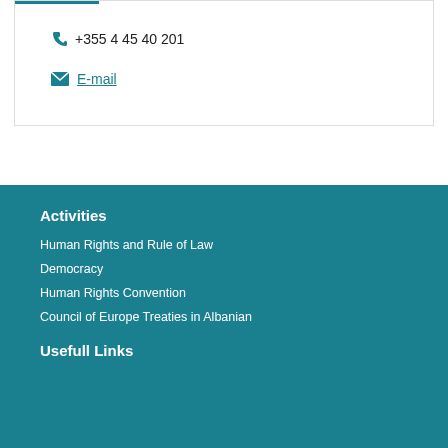+355 4 45 40 201
E-mail
Activities
Human Rights and Rule of Law
Democracy
Human Rights Convention
Council of Europe Treaties in Albanian
Usefull Links